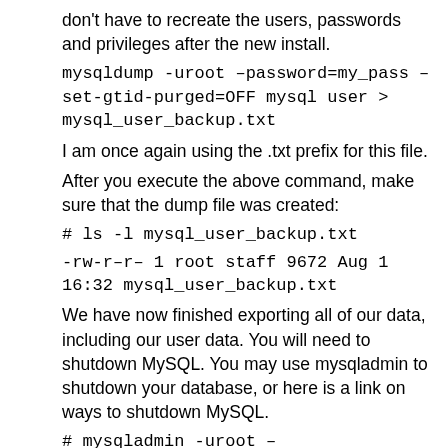don't have to recreate the users, passwords and privileges after the new install.
mysqldump -uroot –password=my_pass –set-gtid-purged=OFF mysql user > mysql_user_backup.txt
I am once again using the .txt prefix for this file.
After you execute the above command, make sure that the dump file was created:
# ls -l mysql_user_backup.txt
-rw-r–r– 1 root staff 9672 Aug 1 16:32 mysql_user_backup.txt
We have now finished exporting all of our data, including our user data. You will need to shutdown MySQL. You may use mysqladmin to shutdown your database, or here is a link on ways to shutdown MySQL.
# mysqladmin -uroot –password=my_pass shutdown
Warning: Using a password on the command line interface can be insecure.
Before continuing, you might want to check to make sure